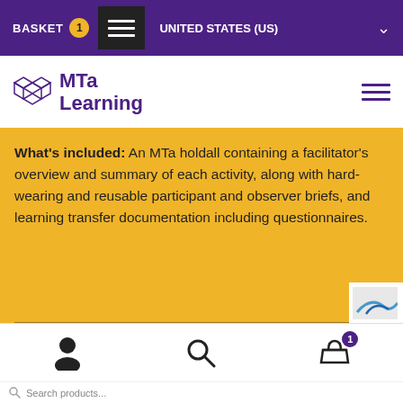BASKET 1  ≡  UNITED STATES (US)
[Figure (logo): MTa Learning logo with geometric cube icon in purple]
What's included: An MTa holdall containing a facilitator's overview and summary of each activity, along with hard-wearing and reusable participant and observer briefs, and learning transfer documentation including questionnaires.
When to use it: When you need to help a group of managers to explore and develop practical, day to day coaching skills for use in the workplace.
Search products...